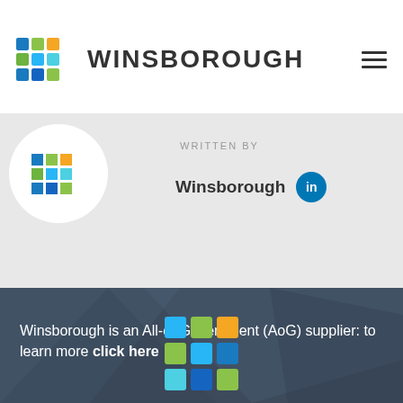[Figure (logo): Green top progress bar]
[Figure (logo): Winsborough logo with colorful grid icon and WINSBOROUGH brand name and hamburger menu]
[Figure (illustration): Author section with circular Winsborough logo, WRITTEN BY text, Winsborough name and LinkedIn badge]
WRITTEN BY
Winsborough
Winsborough is an All-of-Government (AoG) supplier: to learn more click here
[Figure (logo): Winsborough 3x3 color grid logo at bottom]